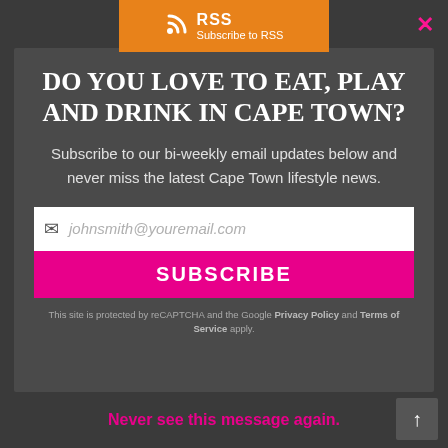[Figure (screenshot): RSS subscription bar with orange background, RSS icon and 'Subscribe to RSS' text]
DO YOU LOVE TO EAT, PLAY AND DRINK IN CAPE TOWN?
Subscribe to our bi-weekly email updates below and never miss the latest Cape Town lifestyle news.
johnsmith@youremail.com (email input placeholder)
SUBSCRIBE
This site is protected by reCAPTCHA and the Google Privacy Policy and Terms of Service apply.
Never see this message again.